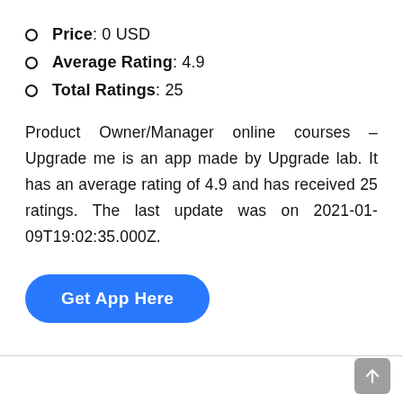Price: 0 USD
Average Rating: 4.9
Total Ratings: 25
Product Owner/Manager online courses – Upgrade me is an app made by Upgrade lab. It has an average rating of 4.9 and has received 25 ratings. The last update was on 2021-01-09T19:02:35.000Z.
[Figure (other): Blue rounded button labeled 'Get App Here']
Scroll to top button (arrow up icon)